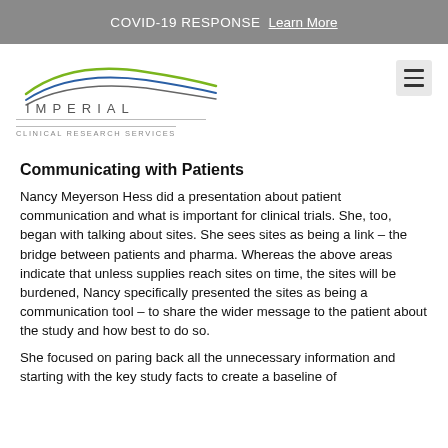COVID-19 RESPONSE  Learn More
[Figure (logo): Imperial Clinical Research Services logo with two curved lines (green and blue) above the word IMPERIAL in spaced capitals, and CLINICAL RESEARCH SERVICES below a horizontal rule]
Communicating with Patients
Nancy Meyerson Hess did a presentation about patient communication and what is important for clinical trials. She, too, began with talking about sites. She sees sites as being a link – the bridge between patients and pharma. Whereas the above areas indicate that unless supplies reach sites on time, the sites will be burdened, Nancy specifically presented the sites as being a communication tool – to share the wider message to the patient about the study and how best to do so.
She focused on paring back all the unnecessary information and starting with the key study facts to create a baseline of